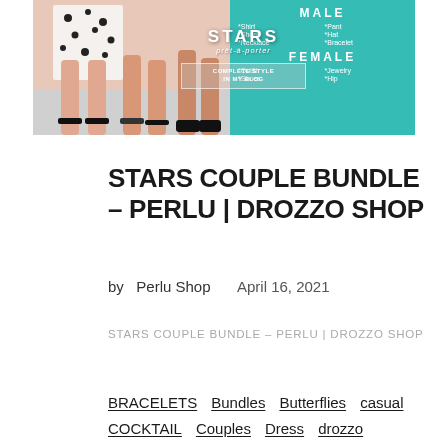[Figure (photo): Fashion blog banner image showing legs of models in polka dot outfit with sandals on the left, and a teal graphic panel on the right with 'STARS prêt-à-porter' branding and COMPLETE STYLE IN MY BLOG button, plus MALE and FEMALE category labels.]
STARS COUPLE BUNDLE - PERLU | DROZZO SHOP
by Perlu Shop   April 16, 2021
STARS COUPLE BUNDLE - PERLU | DROZZO SHOP
BRACELETS
Bundles
Butterflies
casual
COCKTAIL
Couples
Dress
drozzo
DrozzoShop
EARRINGS
Family
Flowers
Garden
Hat
Heel
JEWELRY
Kid